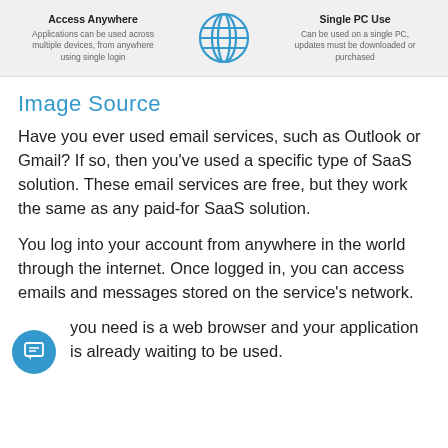[Figure (infographic): Comparison banner showing 'Access Anywhere' on the left with description text, a globe icon in the center, and 'Single PC Use' on the right with description text, on a light grey background.]
Image Source
Have you ever used email services, such as Outlook or Gmail? If so, then you've used a specific type of SaaS solution. These email services are free, but they work the same as any paid-for SaaS solution.
You log into your account from anywhere in the world through the internet. Once logged in, you can access emails and messages stored on the service's network.
you need is a web browser and your application is already waiting to be used.